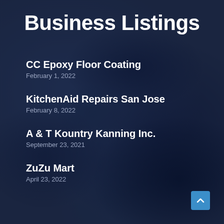Business Listings
CC Epoxy Floor Coating
February 1, 2022
KitchenAid Repairs San Jose
February 8, 2022
A & T Kountry Kanning Inc.
September 23, 2021
ZuZu Mart
April 23, 2022